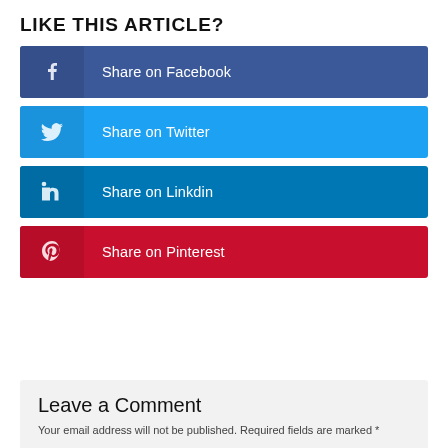LIKE THIS ARTICLE?
Share on Facebook
Share on Twitter
Share on Linkdin
Share on Pinterest
Leave a Comment
Your email address will not be published. Required fields are marked *